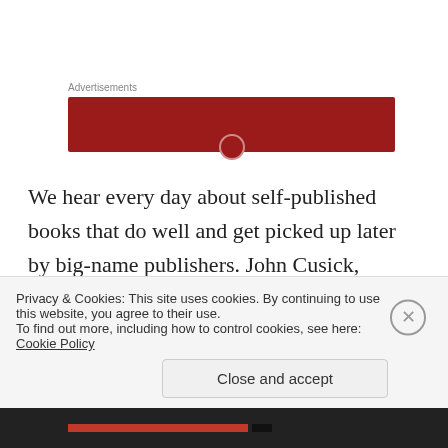Advertisements
[Figure (other): Red advertisement banner with a circular element at the bottom center]
We hear every day about self-published books that do well and get picked up later by big-name publishers. John Cusick, however, advised me to submit to agents before self-publishing. This is because it can be awkward for an agent or publisher to take on a writer if there are already some copies of that writer's book in existence.
Privacy & Cookies: This site uses cookies. By continuing to use this website, you agree to their use.
To find out more, including how to control cookies, see here: Cookie Policy
Close and accept